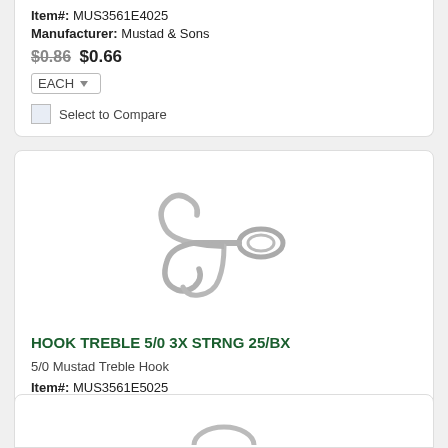Item#: MUS3561E4025
Manufacturer: Mustad & Sons
$0.86 $0.66
EACH
Select to Compare
[Figure (photo): Treble fishing hook, silver/nickel finish, viewed from front showing three hooks joined at a shared eyelet loop]
HOOK TREBLE 5/0 3X STRNG 25/BX
5/0 Mustad Treble Hook
Item#: MUS3561E5025
Manufacturer: Mustad & Sons
$0.92 $0.70
EACH
Select to Compare
[Figure (photo): Partial view of another fishing hook product at bottom of page]